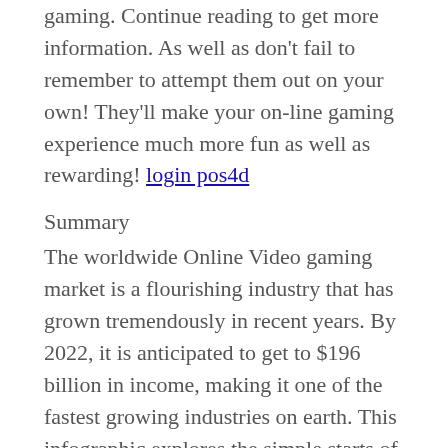gaming. Continue reading to get more information. As well as don't fail to remember to attempt them out on your own! They'll make your on-line gaming experience much more fun as well as rewarding! login pos4d
Summary
The worldwide Online Video gaming market is a flourishing industry that has grown tremendously in recent years. By 2022, it is anticipated to get to $196 billion in income, making it one of the fastest growing industries on earth. This infographic explores the simple starts of the sector as well as exactly how it has actually grown gradually. The very first pc gaming console was introduced in the 1970s, and on-line gaming came to be prevalent with the fostering of the